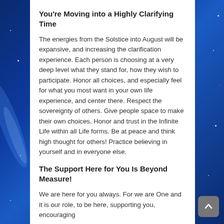You're Moving into a Highly Clarifying Time
The energies from the Solstice into August will be expansive, and increasing the clarification experience. Each person is choosing at a very deep level what they stand for, how they wish to participate. Honor all choices, and especially feel for what you most want in your own life experience, and center there. Respect the sovereignty of others. Give people space to make their own choices. Honor and trust in the Infinite Life within all Life forms. Be at peace and think high thought for others! Practice believing in yourself and in everyone else.
The Support Here for You Is Beyond Measure!
We are here for you always. For we are One and it is our role, to be here, supporting you, encouraging